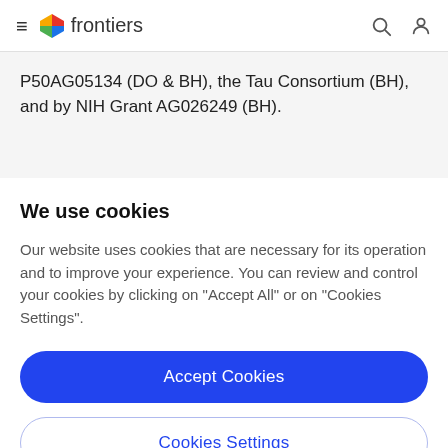frontiers
P50AG05134 (DO & BH), the Tau Consortium (BH), and by NIH Grant AG026249 (BH).
We use cookies
Our website uses cookies that are necessary for its operation and to improve your experience. You can review and control your cookies by clicking on "Accept All" or on "Cookies Settings".
Accept Cookies
Cookies Settings